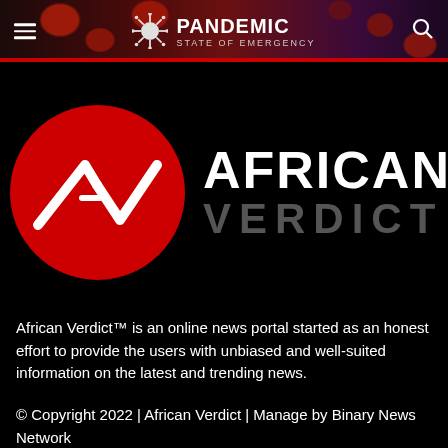[Figure (logo): Pandemic State of Emergency website header banner with virus/blood cell background imagery, hamburger menu icon on left, centered logo with virus icon and 'PANDEMIC State of Emergency' text, search icon on right]
[Figure (logo): African Verdict logo: red circle containing white AV chevron/check mark symbol on left, 'AFRICAN VERDICT' text in white and grey on right on black background]
African Verdict™ is an online news portal started as an honest effort to provide the users with unbiased and well-suited information on the latest and trending news.
© Copyright 2022 | African Verdict | Manage by Binary News Network